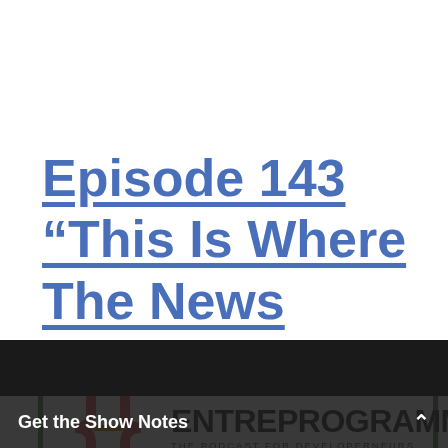Episode 143 “This Is Where The News Happens”
[Figure (logo): Entreprogrammers podcast logo: curly braces icon with green/red/yellow coloring, text ENTREPROGRAMMERS THE PODCAST FOR DEVELOPERNEURS]
Get the Show Notes